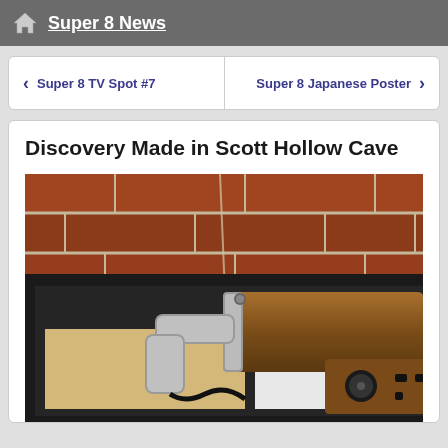Super 8 News
< Super 8 TV Spot #7    Super 8 Japanese Poster >
Discovery Made in Scott Hollow Cave
[Figure (photo): A brown cylindrical device or Super 8 camera part in a black box or tray, with a silver elbow connector and a cable, placed against a red brick wall background]